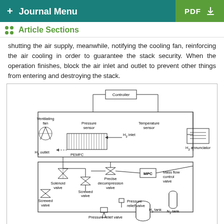+ Journal Menu | PDF
Article Sections
shutting the air supply, meanwhile, notifying the cooling fan, reinforcing the air cooling in order to guarantee the stack security. When the operation finishes, block the air inlet and outlet to prevent other things from entering and destroying the stack.
[Figure (schematic): Schematic diagram of a PEMFC (Proton Exchange Membrane Fuel Cell) system showing Controller, Ventilating fan, Pressure sensor, Temperature sensor, H2 inlet, H2 outlet, PEMFC stack, Solenoid valve, Precise decompression valve, Screwed valve, MPC, Mass flow control valve, Pressure relief valve, N2 tank, H2 tank, H2 annunciator. Signal flow and H2 flow indicated by legend arrows.]